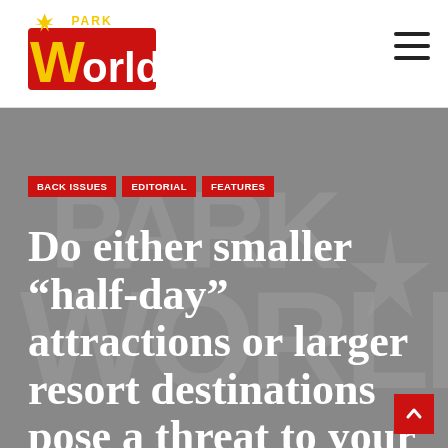[Figure (logo): Park World logo — stylized 'World' text with 'PARK' above in yellow and red with decorative elements]
Park World — navigation header with hamburger menu icon
BACK ISSUES
EDITORIAL
FEATURES
Do either smaller “half-day” attractions or larger resort destinations pose a threat to your